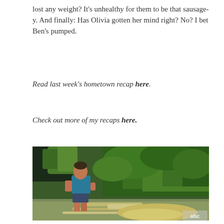lost any weight? It's unhealthy for them to be that sausage-y. And finally: Has Olivia gotten her mind right? No? I bet Ben's pumped.
Read last week's hometown recap here.
Check out more of my recaps here.
[Figure (photo): A man in a teal shirt and dark shorts standing in shallow water with green trees/foliage in the background. ABC logo visible in lower right corner.]